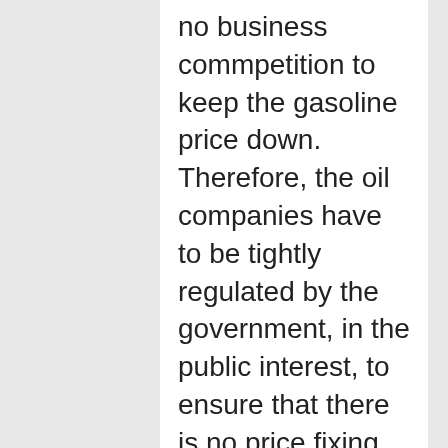no business commpetition to keep the gasoline price down. Therefore, the oil companies have to be tightly regulated by the government, in the public interest, to ensure that there is no price fixing, no price gouging, no fraud, no excessive profiteering, no lax safety standards, no environmental destruction, no public health risks, no accounting tricks, no transfer pricing, no illegal tax loopholes, no corruption, no